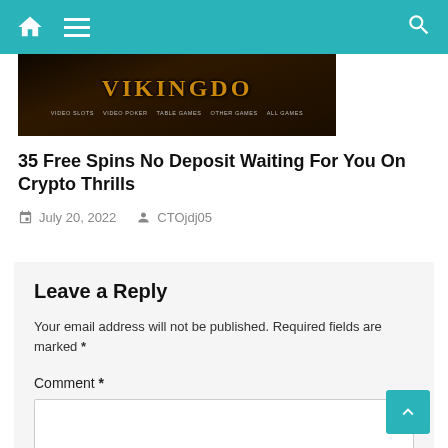Navigation bar with home, menu, and search icons
[Figure (screenshot): Screenshot of VikingDom casino website showing game categories: Video Slots, Video Poker, Table Games, Other Games, All Games]
35 Free Spins No Deposit Waiting For You On Crypto Thrills
July 20, 2022   CTOjdj05
Leave a Reply
Your email address will not be published. Required fields are marked *
Comment *